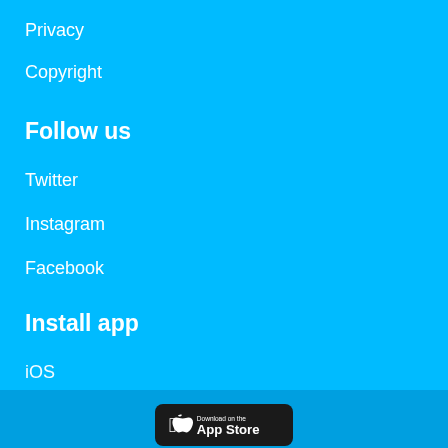Privacy
Copyright
Follow us
Twitter
Instagram
Facebook
Install app
iOS
Android
Chrome extension
[Figure (screenshot): App Store download badge showing apple logo and 'Download on the App Store' text on dark background]